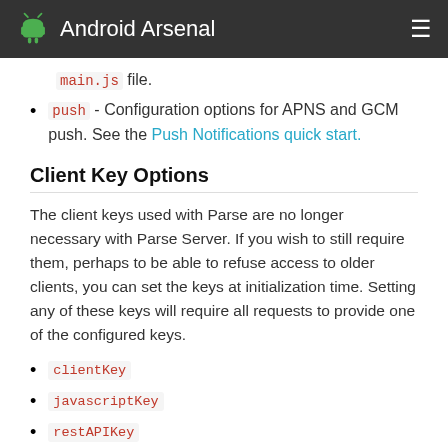Android Arsenal
main.js file.
push - Configuration options for APNS and GCM push. See the Push Notifications quick start.
Client Key Options
The client keys used with Parse are no longer necessary with Parse Server. If you wish to still require them, perhaps to be able to refuse access to older clients, you can set the keys at initialization time. Setting any of these keys will require all requests to provide one of the configured keys.
clientKey
javascriptKey
restAPIKey
dotNetKey
Email Verification and Password Reset